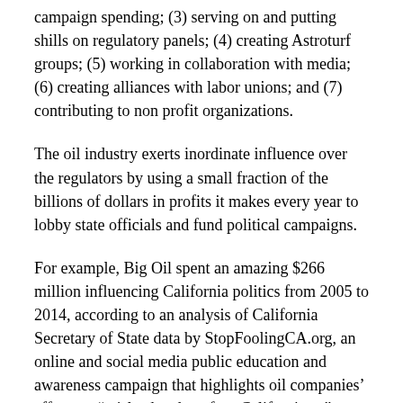campaign spending; (3) serving on and putting shills on regulatory panels; (4) creating Astroturf groups; (5) working in collaboration with media; (6) creating alliances with labor unions; and (7) contributing to non profit organizations.
The oil industry exerts inordinate influence over the regulators by using a small fraction of the billions of dollars in profits it makes every year to lobby state officials and fund political campaigns.
For example, Big Oil spent an amazing $266 million influencing California politics from 2005 to 2014, according to an analysis of California Secretary of State data by StopFoolingCA.org, an online and social media public education and awareness campaign that highlights oil companies' efforts to “mislead and confuse Californians.”